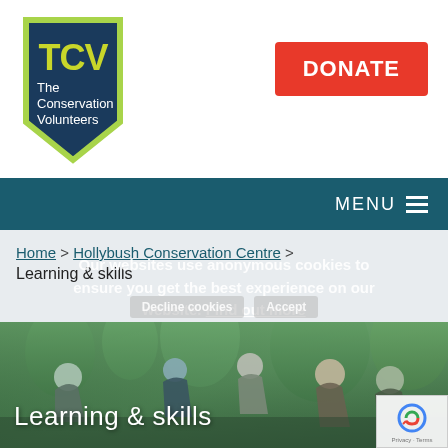[Figure (logo): TCV logo - shield shape with dark blue background, yellow-green 'TCV' letters at top, white text 'The Conservation Volunteers' below, with lime green border]
DONATE
MENU ≡
Home > Hollybush Conservation Centre > Learning & skills
Our websites use anonymous cookies to ensure you get the best experience on our website. Find out more
Decline cookies | Accept
[Figure (photo): Group of people outdoors in a forest/woodland area, bending down and working together on a conservation task]
Learning & skills